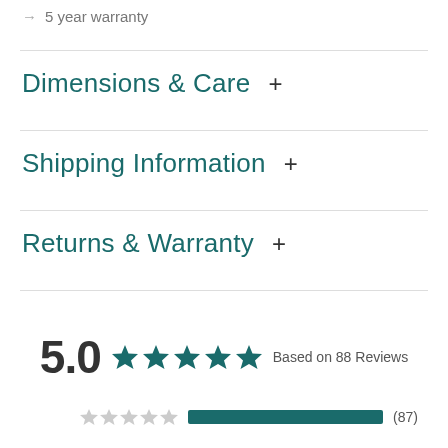→ 5 year warranty
Dimensions & Care +
Shipping Information +
Returns & Warranty +
5.0 ★★★★★ Based on 88 Reviews
★★★★★ (87)